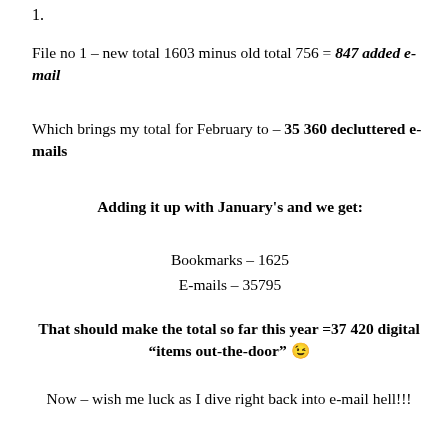1.
File no 1 – new total 1603 minus old total 756 = 847 added e-mail
Which brings my total for February to – 35 360 decluttered e-mails
Adding it up with January's and we get:
Bookmarks – 1625
E-mails – 35795
That should make the total so far this year =37 420 digital “items out-the-door” 😉
Now – wish me luck as I dive right back into e-mail hell!!!